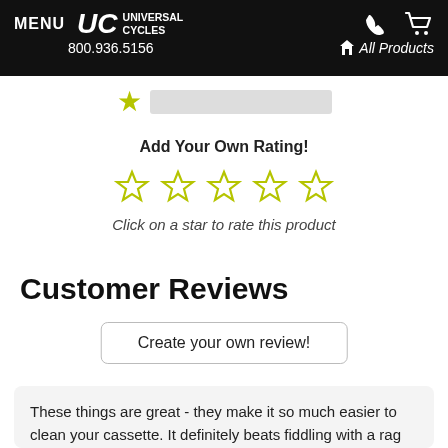MENU | Universal Cycles | 800.936.5156 | All Products
[Figure (other): Star rating bar with one filled yellow star and an empty gray progress bar]
Add Your Own Rating!
[Figure (other): Five outline/empty yellow star rating widgets]
Click on a star to rate this product
Customer Reviews
Create your own review!
These things are great - they make it so much easier to clean your cassette. It definitely beats fiddling with a rag or t-shirt trying to get between the cogs, which inevitably get...